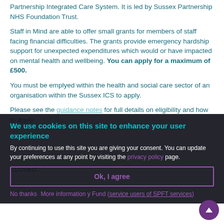Partnership Integrated Care System. It is led by Sussex Partnership NHS Foundation Trust.
Staff in Mind are able to offer small grants for members of staff facing financial difficulties. The grants provide emergency hardship support for unexpected expenditures which would or have impacted on mental health and wellbeing. You can apply for a maximum of £500.
You must be emplyed within the health and social care sector of an organisation within the Sussex ICS to apply.
Please see the guidance notes for full details on eligibility and how to apply.
We use cookies on this site to enhance your user experience
By continuing to use this site you are giving your consent. You can update your preferences at any point by visiting the privacy policy page.
Ok, I agree
No thanks   More information   y Fund (service users of SPFT services)